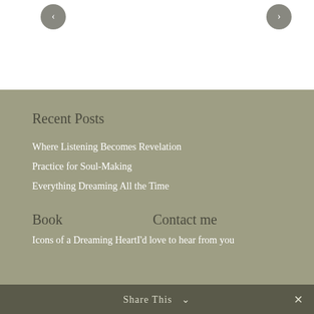[Figure (other): Navigation arrow buttons (left and right chevrons) at top of page on white background]
Recent Posts
Where Listening Becomes Revelation
Practice for Soul-Making
Everything Dreaming All the Time
Book
Contact me
Icons of a Dreaming HeartI'd love to hear from you
Share This  ✕